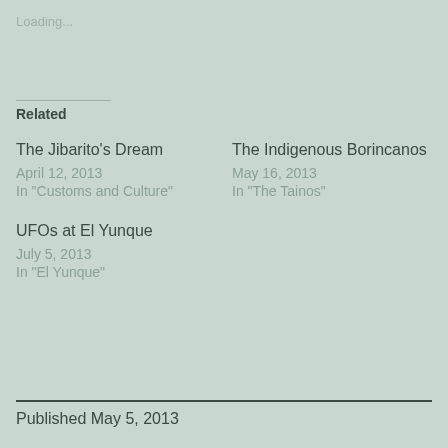Loading...
Related
The Jibarito's Dream
April 12, 2013
In "Customs and Culture"
The Indigenous Borincanos
May 16, 2013
In "The Tainos"
UFOs at El Yunque
July 5, 2013
In "El Yunque"
Published May 5, 2013